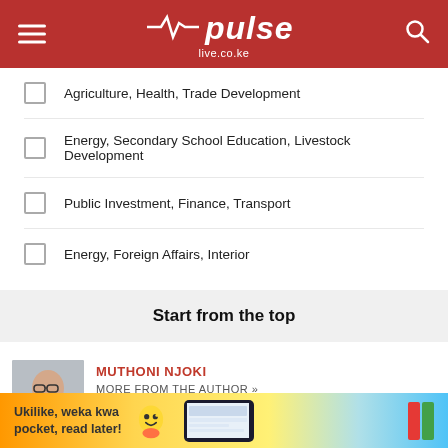pulse live.co.ke
Agriculture, Health, Trade Development
Energy, Secondary School Education, Livestock Development
Public Investment, Finance, Transport
Energy, Foreign Affairs, Interior
Start from the top
MUTHONI NJOKI
MORE FROM THE AUTHOR »
Muthoni N... Consulta... ...rvice.
[Figure (infographic): Advertisement banner: Ukilike, weka kwa pocket, read later! with mascot and phone image]